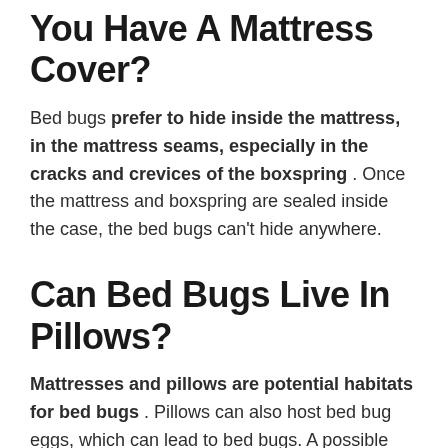You Have A Mattress Cover?
Bed bugs prefer to hide inside the mattress, in the mattress seams, especially in the cracks and crevices of the boxspring . Once the mattress and boxspring are sealed inside the case, the bed bugs can't hide anywhere.
Can Bed Bugs Live In Pillows?
Mattresses and pillows are potential habitats for bed bugs . Pillows can also host bed bug eggs, which can lead to bed bugs. A possible sign that bed bugs may be parasitic